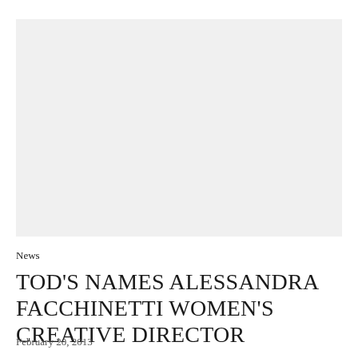[Figure (photo): Large rectangular image placeholder with light gray background, representing a photo associated with the article.]
News
TOD'S NAMES ALESSANDRA FACCHINETTI WOMEN'S CREATIVE DIRECTOR
February 20, 2013